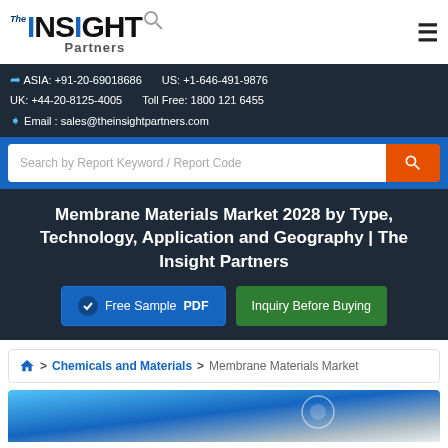The INSIGHT Partners
ASIA: +91-20-69018686   US: +1-646-491-9876
UK: +44-20-8125-4005   Toll Free: 1800 121 6455
Email : sales@theinsightpartners.com
Search by Report Keyword / Report Code
Membrane Materials Market 2028 by Type, Technology, Application and Geography | The Insight Partners
Free Sample PDF
Inquiry Before Buying
> Chemicals and Materials > Membrane Materials Market